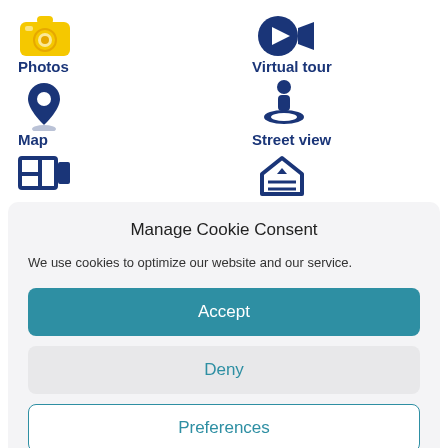[Figure (screenshot): Yellow camera icon for Photos]
Photos
[Figure (screenshot): Blue video/virtual tour icon]
Virtual tour
[Figure (screenshot): Blue map pin/location icon]
Map
[Figure (screenshot): Blue street view person icon]
Street view
[Figure (screenshot): Blue floorplan icon]
[Figure (screenshot): Blue house with lines icon]
Manage Cookie Consent
We use cookies to optimize our website and our service.
Accept
Deny
Preferences